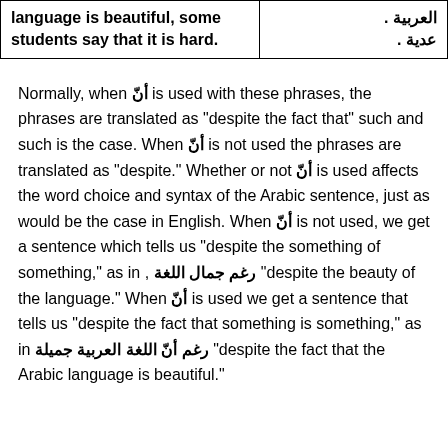| language is beautiful, some students say that it is hard. | العربية .
عدية . |
Normally, when أنّ is used with these phrases, the phrases are translated as "despite the fact that" such and such is the case. When أنّ is not used the phrases are translated as "despite." Whether or not أنّ is used affects the word choice and syntax of the Arabic sentence, just as would be the case in English. When أنّ is not used, we get a sentence which tells us "despite the something of something," as in , رغم جمال اللغة "despite the beauty of the language." When أنّ is used we get a sentence that tells us "despite the fact that something is something," as in رغم أنّ اللغة العربية جميلة "despite the fact that the Arabic language is beautiful."